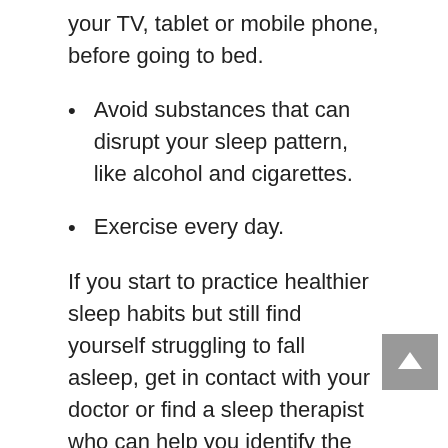your TV, tablet or mobile phone, before going to bed.
Avoid substances that can disrupt your sleep pattern, like alcohol and cigarettes.
Exercise every day.
If you start to practice healthier sleep habits but still find yourself struggling to fall asleep, get in contact with your doctor or find a sleep therapist who can help you identify the issue that's causing your sleepless nights.
Do yoga